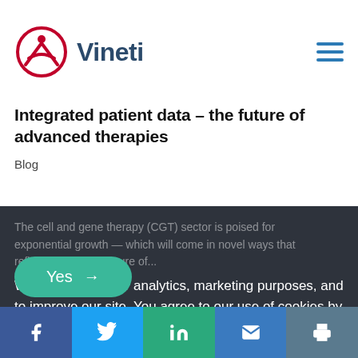Vineti
Integrated patient data – the future of advanced therapies
Blog
The cell and gene therapy (CGT) sector is poised for exponential growth — which will come in novel ways that reflect the unique nature of...
We use cookies for analytics, marketing purposes, and to improve our site. You agree to our use of cookies by clicking yes. To find out more, including how to change your settings, see our privacy policy for details.
Read More →
[Figure (other): Yes button with arrow]
Social share bar: Facebook, Twitter, LinkedIn, Email, Print